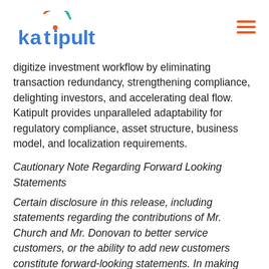katipult [logo]
digitize investment workflow by eliminating transaction redundancy, strengthening compliance, delighting investors, and accelerating deal flow. Katipult provides unparalleled adaptability for regulatory compliance, asset structure, business model, and localization requirements.
Cautionary Note Regarding Forward Looking Statements
Certain disclosure in this release, including statements regarding the contributions of Mr. Church and Mr. Donovan to better service customers, or the ability to add new customers constitute forward-looking statements. In making the forward-looking statements